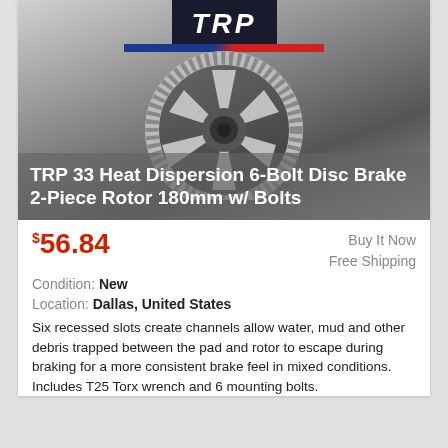[Figure (photo): TRP 33 Heat Dispersion 6-Bolt Disc Brake 2-Piece Rotor 180mm w/ Bolts product photo showing a disc brake rotor in retail packaging with TRP logo at top]
TRP 33 Heat Dispersion 6-Bolt Disc Brake 2-Piece Rotor 180mm w/ Bolts
$56.84
Buy It Now
Free Shipping
Condition: New
Location: Dallas, United States
Six recessed slots create channels allow water, mud and other debris trapped between the pad and rotor to escape during braking for a more consistent brake feel in mixed conditions. Includes T25 Torx wrench and 6 mounting bolts.